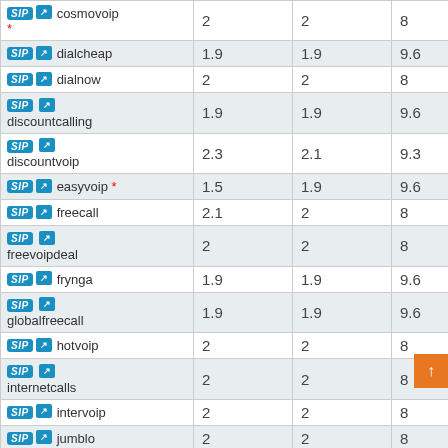| Provider | Col1 | Col2 | Col3 |
| --- | --- | --- | --- |
| cosmovoip * | 2 | 2 | 8 |
| dialcheap | 1.9 | 1.9 | 9.6 |
| dialnow | 2 | 2 | 8 |
| discountcalling | 1.9 | 1.9 | 9.6 |
| discountvoip | 2.3 | 2.1 | 9.3 |
| easyvoip * | 1.5 | 1.9 | 9.6 |
| freecall | 2.1 | 2 | 8 |
| freevoipdeal | 2 | 2 | 8 |
| frynga | 1.9 | 1.9 | 9.6 |
| globalfreecall | 1.9 | 1.9 | 9.6 |
| hotvoip | 2 | 2 | 8 |
| internetcalls | 2 | 2 | 8 |
| intervoip | 2 | 2 | 8 |
| jumblo | 2 | 2 | 8 |